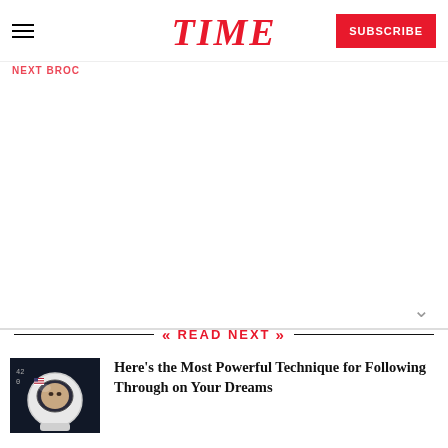TIME | SUBSCRIBE
READ NEXT
[Figure (photo): Thumbnail image of an astronaut in a white helmet against a dark background with an American flag on the suit]
Here’s the Most Powerful Technique for Following Through on Your Dreams